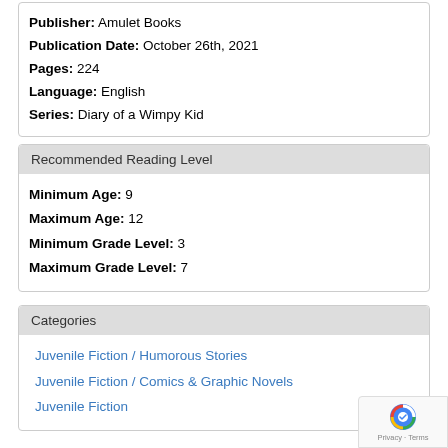Publisher: Amulet Books
Publication Date: October 26th, 2021
Pages: 224
Language: English
Series: Diary of a Wimpy Kid
Recommended Reading Level
Minimum Age: 9
Maximum Age: 12
Minimum Grade Level: 3
Maximum Grade Level: 7
Categories
Juvenile Fiction / Humorous Stories
Juvenile Fiction / Comics & Graphic Novels
Juvenile Fiction